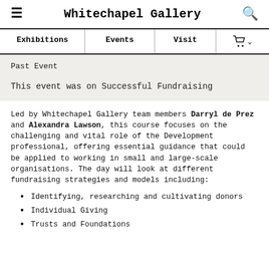Whitechapel Gallery
Exhibitions | Events | Visit | Cart
Past Event
This event was on Successful Fundraising
Led by Whitechapel Gallery team members Darryl de Prez and Alexandra Lawson, this course focuses on the challenging and vital role of the Development professional, offering essential guidance that could be applied to working in small and large-scale organisations. The day will look at different fundraising strategies and models including:
Identifying, researching and cultivating donors
Individual Giving
Trusts and Foundations